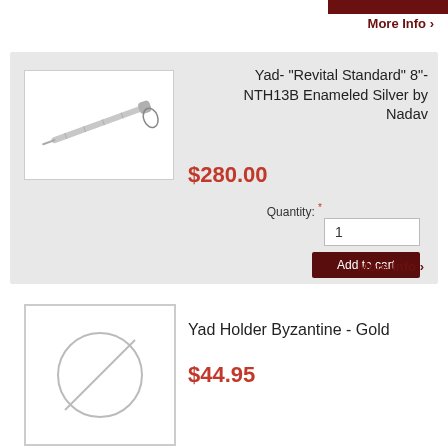More Info >
[Figure (photo): Silver Yad pointer with cord, elongated metallic instrument]
Yad- "Revital Standard" 8"- NTH13B Enameled Silver by Nadav
$280.00
Quantity: *
1
Add to cart
More Info >
[Figure (photo): Yad Holder Byzantine Gold - placeholder image with circular holder]
Yad Holder Byzantine - Gold
$44.95